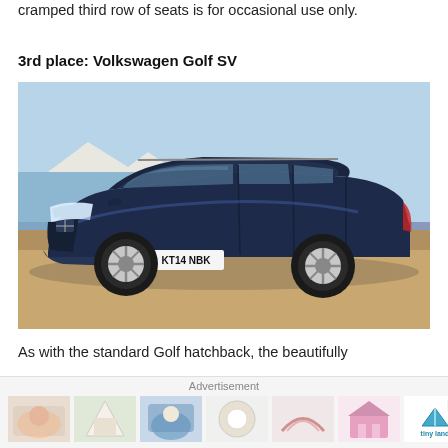cramped third row of seats is for occasional use only.
3rd place: Volkswagen Golf SV
[Figure (photo): Volkswagen Golf SV in dark blue/navy, parked on a sandy beach promenade with white cliffs and sea in the background. Registration plate KT14 NBK.]
As with the standard Golf hatchback, the beautifully
Advertisement
[Figure (photo): Advertisement banner with six small product images (baby/children items) and a Tiny Land logo with close/skip button.]